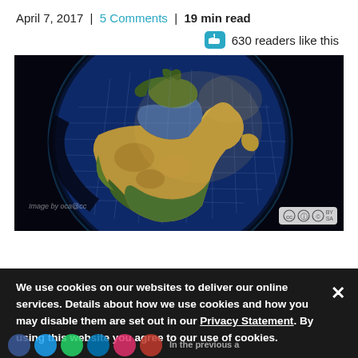April 7, 2017  |  5 Comments  |  19 min read
630 readers like this
[Figure (photo): Globe/Earth viewed from space showing Africa, Europe, and the Middle East with a grid overlay on the surface, against a black background. Creative Commons attribution license badge in bottom right corner.]
Image by oca@cc
We use cookies on our websites to deliver our online services. Details about how we use cookies and how you may disable them are set out in our Privacy Statement. By using this website you agree to our use of cookies.
In the previous a